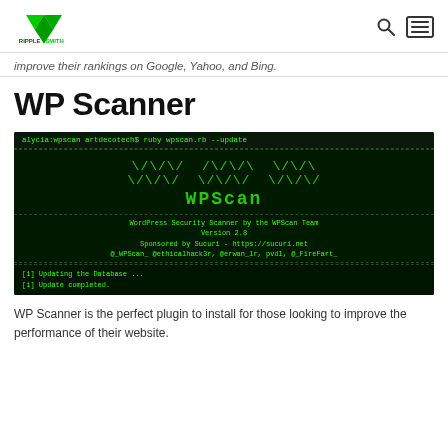RippleSmith logo with search and menu icons
improve their rankings on Google, Yahoo, and Bing.
WP Scanner
[Figure (screenshot): Terminal screenshot showing WPScan tool running: 'alycia:wpscan artdecotech$ ruby wpscan.rb --update' with WPScan ASCII art logo, 'WordPress Security Scanner by the WPScan Team Version 2.8 Sponsored by Sucuri - https://sucuri.net @_WPScan_ @ethicalhack3r, @erwan_lr, pvdl, @_FireFart_' and output showing '[i] Updating the Database ... [i] Update completed.']
WP Scanner is the perfect plugin to install for those looking to improve the performance of their website.